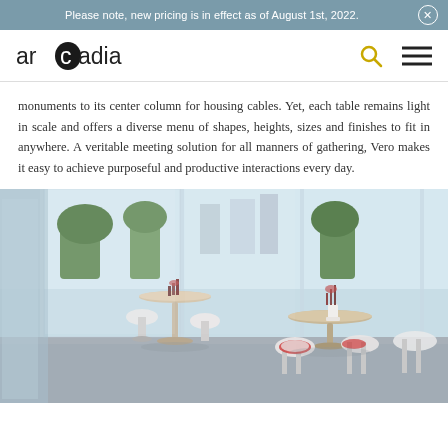Please note, new pricing is in effect as of August 1st, 2022.
[Figure (logo): Arcadia brand logo with stylized circular 'o']
monuments to its center column for housing cables. Yet, each table remains light in scale and offers a diverse menu of shapes, heights, sizes and finishes to fit in anywhere. A veritable meeting solution for all manners of gathering, Vero makes it easy to achieve purposeful and productive interactions every day.
[Figure (photo): Interior photo of a bright modern space with floor-to-ceiling glass windows, Vero pedestal tables in bar and dining heights with white and red-accented chairs, tropical plants outside, natural light flooding the room.]